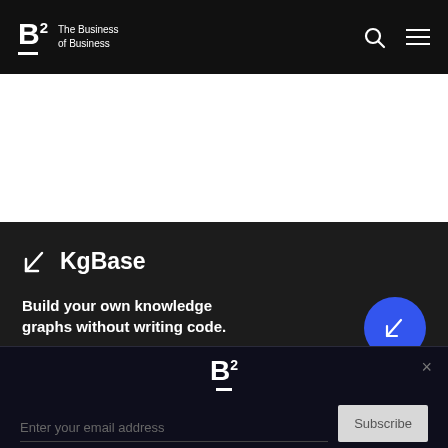B2 The Business of Business
[Figure (logo): B2 logo with tagline 'The Business of Business' on black navigation bar with search and menu icons]
[Figure (logo): KgBase logo with arrow icon and title 'KgBase' on dark background]
Build your own knowledge graphs without writing code.
Request Demo >
B2 logo, email subscription area with 'Enter your email address' input and Subscribe button